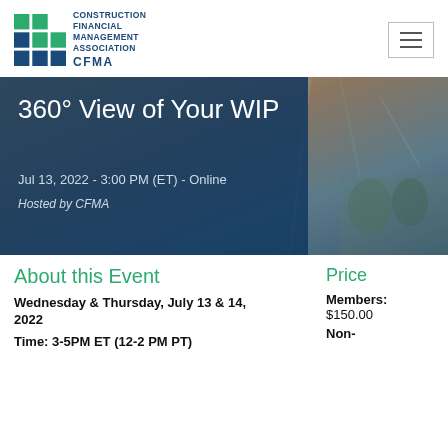[Figure (logo): CFMA - Construction Financial Management Association logo with green grid squares and blue text]
[Figure (photo): Hero banner with construction site background image showing workers in hard hats, overlaid with dark blue semi-transparent panel]
360° View of Your WIP
Jul 13, 2022 - 3:00 PM (ET) - Online
Hosted by CFMA
About this Event
Price
Wednesday & Thursday, July 13 & 14, 2022
Members: $150.00
Non-
Time: 3-5PM ET (12-2 PM PT)